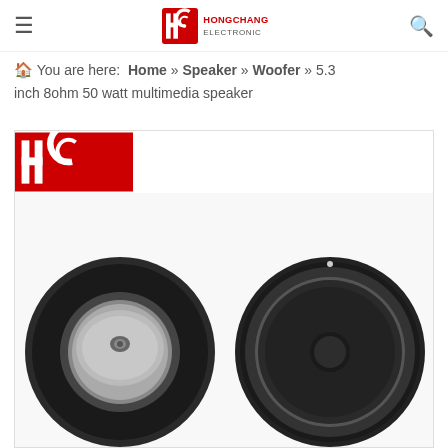≡  HC HONGCHANG ELECTRONIC  🔍
🏠 You are here:  Home » Speaker » Woofer » 5.3 inch 8ohm 50 watt multimedia speaker
[Figure (photo): Product photo showing two woofer speakers (5.3 inch 8ohm 50 watt multimedia speaker) with HC Hongchang Electronic logo watermark in top-left corner. Left speaker shown from rear/magnet side, right speaker shown from front/cone side.]